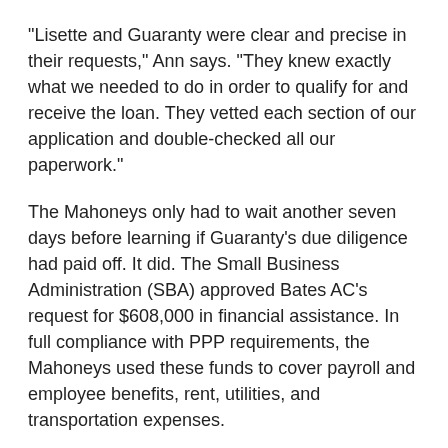“Lisette and Guaranty were clear and precise in their requests,” Ann says. “They knew exactly what we needed to do in order to qualify for and receive the loan. They vetted each section of our application and double-checked all our paperwork.”
The Mahoneys only had to wait another seven days before learning if Guaranty’s due diligence had paid off. It did. The Small Business Administration (SBA) approved Bates AC’s request for $608,000 in financial assistance. In full compliance with PPP requirements, the Mahoneys used these funds to cover payroll and employee benefits, rent, utilities, and transportation expenses.
Fast-forward one month. Texas had just entered Phase I of Governor Greg Abbott’s reopening plan. Bates AC had implemented new health and safety protocols, both in the office and on the job site. Demand for the company’s